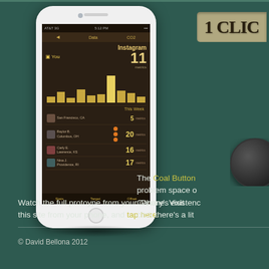[Figure (screenshot): White iPhone showing a social media analytics app screen with Instagram count of 11, bar chart, and a leaderboard showing This Week scores: Baylor B. 20, Carly E. 16, Nina J. 17]
[Figure (illustration): Partially visible text badge/tag showing '1 CLIC' in bold dark letters on a tan/khaki background, cropped on right side]
[Figure (illustration): Dark circular Coal Button device, partially visible on right side]
Watch the full protoype from your iPhone. Visit this site from your phone, and tap here.
The Coal Button problem space of Canary's existence click there's a lit
© David Bellona 2012